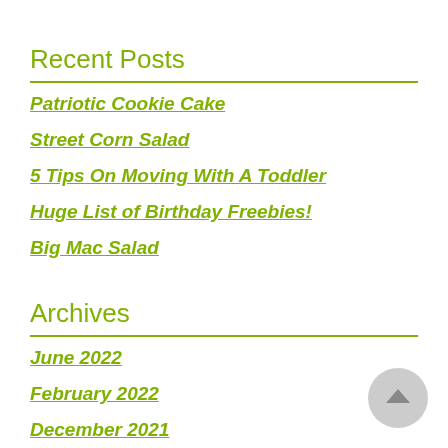Recent Posts
Patriotic Cookie Cake
Street Corn Salad
5 Tips On Moving With A Toddler
Huge List of Birthday Freebies!
Big Mac Salad
Archives
June 2022
February 2022
December 2021
October 2021